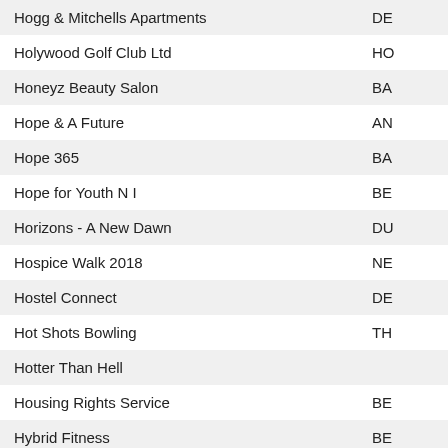| Name | Code |
| --- | --- |
| Hogg & Mitchells Apartments | DE |
| Holywood Golf Club Ltd | HO |
| Honeyz Beauty Salon | BA |
| Hope & A Future | AN |
| Hope 365 | BA |
| Hope for Youth N I | BE |
| Horizons - A New Dawn | DU |
| Hospice Walk 2018 | NE |
| Hostel Connect | DE |
| Hot Shots Bowling | TH |
| Hotter Than Hell |  |
| Housing Rights Service | BE |
| Hybrid Fitness | BE |
| HYDE AIR PARK | CR |
| Hydeaway Gym | AR |
| i Mobile Repair | BE |
| Ian Young Fitness | BE |
| ifex 2018 | BE |